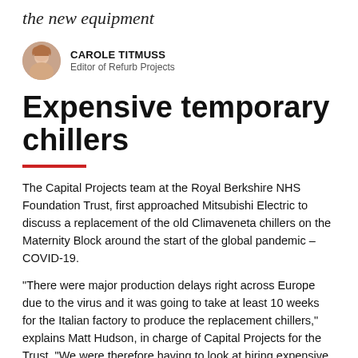the new equipment
CAROLE TITMUSS
Editor of Refurb Projects
Expensive temporary chillers
The Capital Projects team at the Royal Berkshire NHS Foundation Trust, first approached Mitsubishi Electric to discuss a replacement of the old Climaveneta chillers on the Maternity Block around the start of the global pandemic – COVID-19.
“There were major production delays right across Europe due to the virus and it was going to take at least 10 weeks for the Italian factory to produce the replacement chillers,” explains Matt Hudson, in charge of Capital Projects for the Trust. “We were therefore having to look at hiring expensive temporary